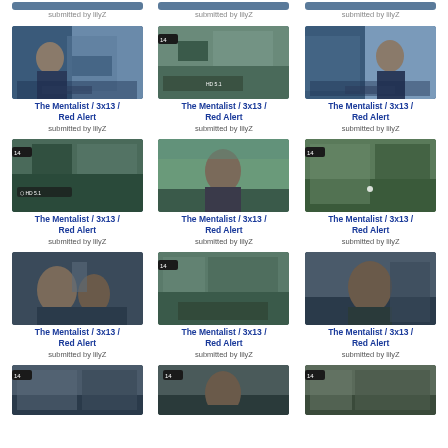[Figure (screenshot): Grid of video thumbnails from The Mentalist 3x13 Red Alert, submitted by lilyZ. 3 columns, partial top row visible, 3 full rows, partial bottom row.]
submitted by lilyZ (top row, col 1)
submitted by lilyZ (top row, col 2)
submitted by lilyZ (top row, col 3)
The Mentalist / 3x13 / Red Alert
submitted by lilyZ
The Mentalist / 3x13 / Red Alert
submitted by lilyZ
The Mentalist / 3x13 / Red Alert
submitted by lilyZ